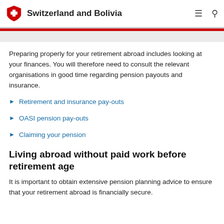Switzerland and Bolivia
Preparing properly for your retirement abroad includes looking at your finances. You will therefore need to consult the relevant organisations in good time regarding pension payouts and insurance.
Retirement and insurance pay-outs
OASI pension pay-outs
Claiming your pension
Living abroad without paid work before retirement age
It is important to obtain extensive pension planning advice to ensure that your retirement abroad is financially secure.